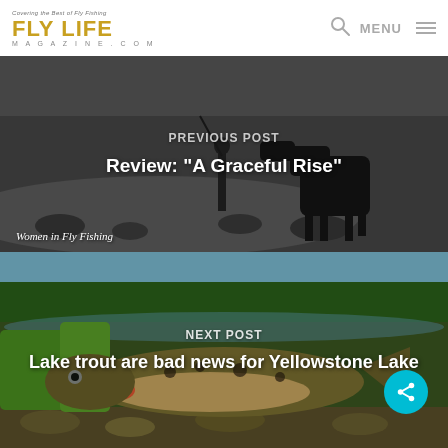Covering the Best of Fly Fishing | FLY LIFE MAGAZINE.COM
Previous Post
Review: "A Graceful Rise"
[Figure (photo): Grayscale historical photo of a person fly fishing near a river with a horse]
Women in Fly Fishing
Next Post
Lake trout are bad news for Yellowstone Lake
[Figure (photo): Underwater photo of a trout fish at Yellowstone Lake with rocky bottom and vegetation visible above water]